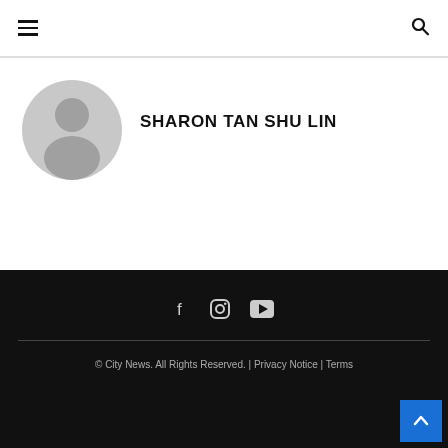Navigation header with hamburger menu and search icon
SHARON TAN SHU LIN
[Figure (illustration): Default grey user avatar/profile picture placeholder]
© City News. All Rights Reserved. | Privacy Notice | Terms